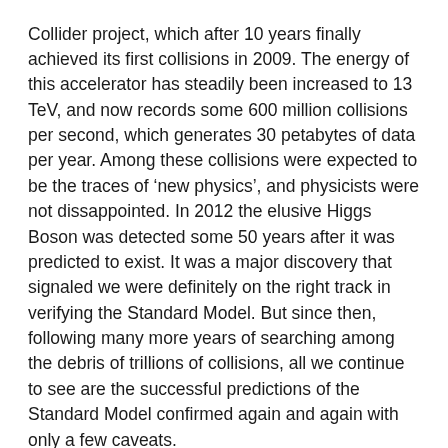Collider project, which after 10 years finally achieved its first collisions in 2009. The energy of this accelerator has steadily been increased to 13 TeV, and now records some 600 million collisions per second, which generates 30 petabytes of data per year. Among these collisions were expected to be the traces of 'new physics', and physicists were not dissappointed. In 2012 the elusive Higgs Boson was detected some 50 years after it was predicted to exist. It was a major discovery that signaled we were definitely on the right track in verifying the Standard Model. But since then, following many more years of searching among the debris of trillions of collisions, all we continue to see are the successful predictions of the Standard Model confirmed again and again with only a few caveats.
Typically, physicists push experiments to ever-higher degrees of accuracy to uncover where our current theoretical model predictions are becoming thread-bare, revealing signs of new phenomena or particles, hence the term 'new physics'. The criticism there on this approach, already detected, has been...